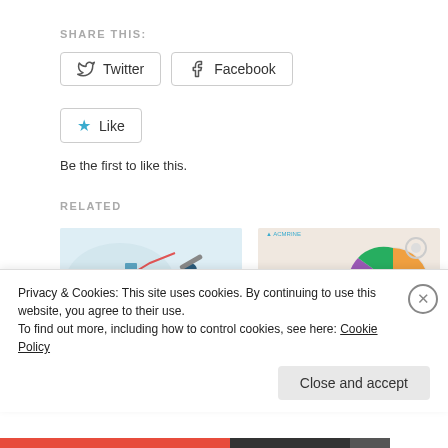SHARE THIS:
Twitter
Facebook
Like
Be the first to like this.
RELATED
[Figure (illustration): Marketing/analytics illustration with line chart, bar chart, and person holding telescope on a hand]
Drive high CAGR by Global Refrigerant Recovery Machines
[Figure (illustration): Business analytics illustration with bar chart, pie chart, and person pointing at data]
Refrigerant Recovery Machines in HVAC System Market
Privacy & Cookies: This site uses cookies. By continuing to use this website, you agree to their use.
To find out more, including how to control cookies, see here: Cookie Policy
Close and accept